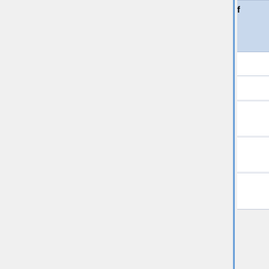| Elections | Number of votes (1st round) | % of votes (1st round) | Number of votes (2nd round) |
| --- | --- | --- | --- |
| 1990 | 439 481 | 8.95% | 63 064 |
| 1994 | 379 295 | 7.02% | 29 391 |
| 1998 | 1 263 522 | 28.18% | 187 60... |
| 2002 | 2 306 763 | 41.07% | 2 196 524 |
| 2006 | 2 272 979 | 42.03% | 1 511 176 |
* Due to large number of resigns in favor of other parties
** From 164 MPs, 23 formed the separate fraction of KDNP, Fidesz has a fraction of 141
Fidesz formed an electoral coalition with